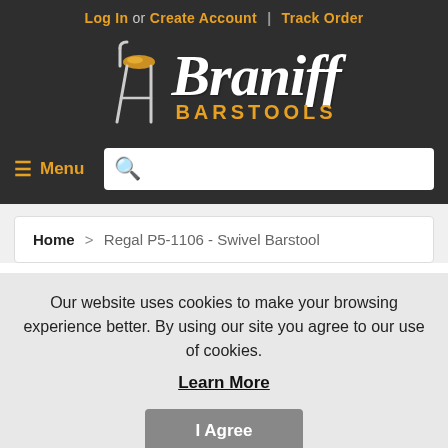Log In or Create Account | Track Order
[Figure (logo): Braniff Barstools logo with stylized barstool icon and script 'Braniff' text above bold 'BARSTOOLS' text]
≡ Menu
Home > Regal P5-1106 - Swivel Barstool
Our website uses cookies to make your browsing experience better. By using our site you agree to our use of cookies. Learn More
I Agree